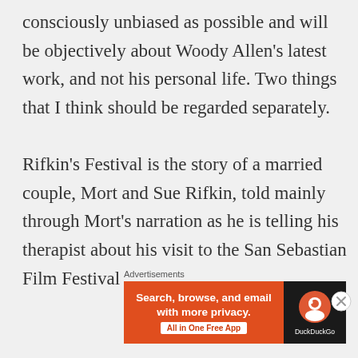consciously unbiased as possible and will be objectively about Woody Allen's latest work, and not his personal life. Two things that I think should be regarded separately.

Rifkin's Festival is the story of a married couple, Mort and Sue Rifkin, told mainly through Mort's narration as he is telling his therapist about his visit to the San Sebastian Film Festival
Advertisements
[Figure (other): DuckDuckGo advertisement banner: orange background on the left with text 'Search, browse, and email with more privacy. All in One Free App' and a white button, and black background on the right with the DuckDuckGo circular logo and 'DuckDuckGo' text.]